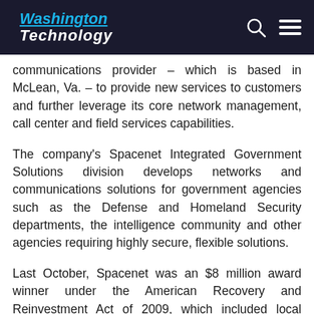Washington Technology
communications provider – which is based in McLean, Va. – to provide new services to customers and further leverage its core network management, call center and field services capabilities.
The company's Spacenet Integrated Government Solutions division develops networks and communications solutions for government agencies such as the Defense and Homeland Security departments, the intelligence community and other agencies requiring highly secure, flexible solutions.
Last October, Spacenet was an $8 million award winner under the American Recovery and Reinvestment Act of 2009, which included local satellite providers Echostar XI Operating LLC  and Wildblue Communications Inc. Hughes Network Systems LLC, the only nationwide provider selected, took the lion's share, $59 million, to offer satellite broadband service to rural residential and commercial subscribers.